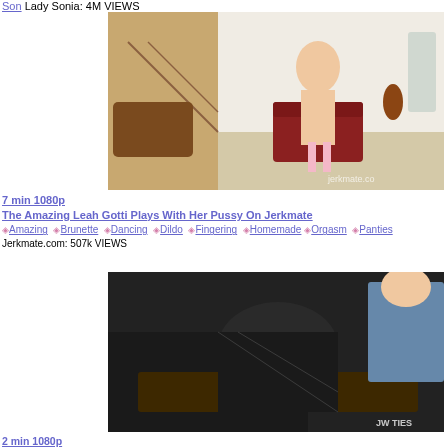Son Lady Sonia: 4M VIEWS
[Figure (photo): Woman in white stockings posing in a room with staircase and leather chair, jerkmate.co watermark]
7 min 1080p
The Amazing Leah Gotti Plays With Her Pussy On Jerkmate
Amazing Brunette Dancing Dildo Fingering Homemade Orgasm Panties Jerkmate.com: 507k VIEWS
[Figure (photo): Woman in black fishnet outfit on a table with a man, JW TIES watermark]
2 min 1080p
The Orifice Teaser